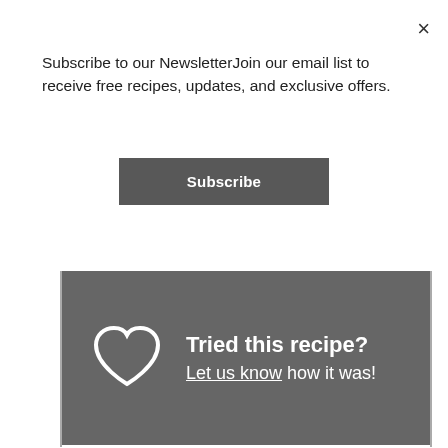×
Subscribe to our NewsletterJoin our email list to receive free recipes, updates, and exclusive offers.
Subscribe
[Figure (infographic): Dark gray banner with a white heart outline icon on the left, text 'Tried this recipe?' in bold white, and 'Let us know how it was!' below with 'Let us know' underlined]
[Figure (other): Instagram logo icon (rounded square with circle and dot inside)]
Tried this recipe?